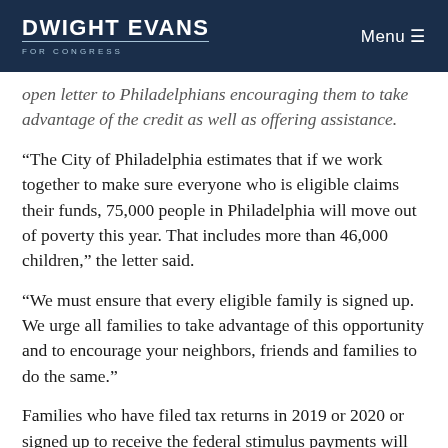DWIGHT EVANS FOR CONGRESS | Menu
open letter to Philadelphians encouraging them to take advantage of the credit as well as offering assistance.
“The City of Philadelphia estimates that if we work together to make sure everyone who is eligible claims their funds, 75,000 people in Philadelphia will move out of poverty this year. That includes more than 46,000 children,” the letter said.
“We must ensure that every eligible family is signed up. We urge all families to take advantage of this opportunity and to encourage your neighbors, friends and families to do the same.”
Families who have filed tax returns in 2019 or 2020 or signed up to receive the federal stimulus payments will receive payments automatically.